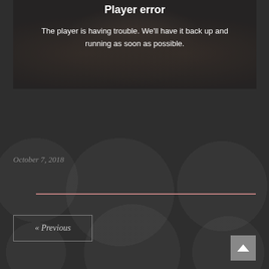[Figure (screenshot): Player error screen showing hands on a synthesizer/audio controller, overlaid with a dark semi-transparent layer]
Player error
The player is having trouble. We'll have it back up and running as soon as possible.
October 7, 2018
« Previous